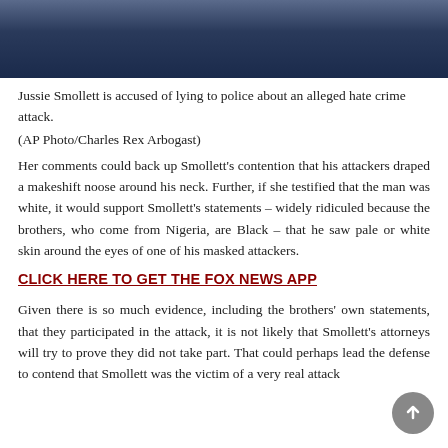[Figure (photo): Photo of Jussie Smollett, partial view showing head and shoulders in a suit, cropped at top of page]
Jussie Smollett is accused of lying to police about an alleged hate crime attack.
(AP Photo/Charles Rex Arbogast)
Her comments could back up Smollett’s contention that his attackers draped a makeshift noose around his neck. Further, if she testified that the man was white, it would support Smollett’s statements – widely ridiculed because the brothers, who come from Nigeria, are Black – that he saw pale or white skin around the eyes of one of his masked attackers.
CLICK HERE TO GET THE FOX NEWS APP
Given there is so much evidence, including the brothers’ own statements, that they participated in the attack, it is not likely that Smollett’s attorneys will try to prove they did not take part. That could perhaps lead the defense to contend that Smollett was the victim of a very real attack